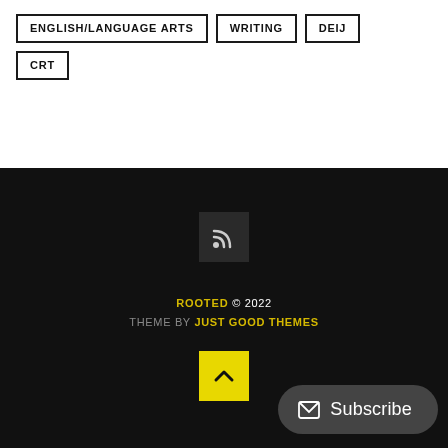ENGLISH/LANGUAGE ARTS
WRITING
DEIJ
CRT
[Figure (other): RSS feed icon in dark square]
ROOTED © 2022
THEME BY JUST GOOD THEMES
[Figure (other): Back to top arrow button in yellow square]
Subscribe